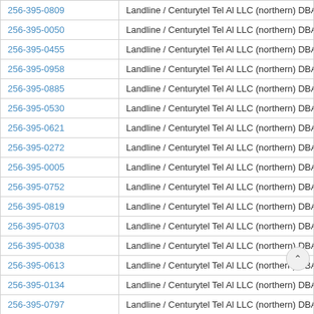| Phone | Carrier |
| --- | --- |
| 256-395-0809 | Landline / Centurytel Tel Al LLC (northern) DBA Centurylink |
| 256-395-0050 | Landline / Centurytel Tel Al LLC (northern) DBA Centurylink |
| 256-395-0455 | Landline / Centurytel Tel Al LLC (northern) DBA Centurylink |
| 256-395-0958 | Landline / Centurytel Tel Al LLC (northern) DBA Centurylink |
| 256-395-0885 | Landline / Centurytel Tel Al LLC (northern) DBA Centurylink |
| 256-395-0530 | Landline / Centurytel Tel Al LLC (northern) DBA Centurylink |
| 256-395-0621 | Landline / Centurytel Tel Al LLC (northern) DBA Centurylink |
| 256-395-0272 | Landline / Centurytel Tel Al LLC (northern) DBA Centurylink |
| 256-395-0005 | Landline / Centurytel Tel Al LLC (northern) DBA Centurylink |
| 256-395-0752 | Landline / Centurytel Tel Al LLC (northern) DBA Centurylink |
| 256-395-0819 | Landline / Centurytel Tel Al LLC (northern) DBA Centurylink |
| 256-395-0703 | Landline / Centurytel Tel Al LLC (northern) DBA Centurylink |
| 256-395-0038 | Landline / Centurytel Tel Al LLC (northern) DBA Centurylink |
| 256-395-0613 | Landline / Centurytel Tel Al LLC (northern) DBA Centurylink |
| 256-395-0134 | Landline / Centurytel Tel Al LLC (northern) DBA Centu‹ |
| 256-395-0797 | Landline / Centurytel Tel Al LLC (northern) DBA Centur‹ |
| 256-395-0847 | Landline / Centurytel Tel Al LLC (northern) DBA Centurylink |
| 256-395-0786 | Landline / Centurytel Tel Al LLC (northern) DBA Centurylink |